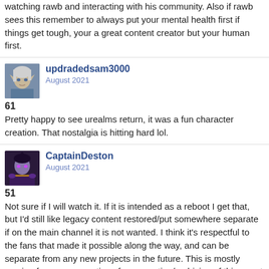watching rawb and interacting with his community. Also if rawb sees this remember to always put your mental health first if things get tough, your a great content creator but your human first.
updradedsam3000
August 2021
61
Pretty happy to see urealms return, it was a fun character creation. That nostalgia is hitting hard lol.
CaptainDeston
August 2021
51
Not sure if I will watch it. If it is intended as a reboot I get that, but I'd still like legacy content restored/put somewhere separate if on the main channel it is not wanted. I think it's respectful to the fans that made it possible along the way, and can be separate from any new projects in the future. This is mostly coming from a perspective of preservation/archiving of things not even out of importance, but to interesting things.
CaptainDeston
August 2021
51
Too the time investment in participating has a sketchy track record